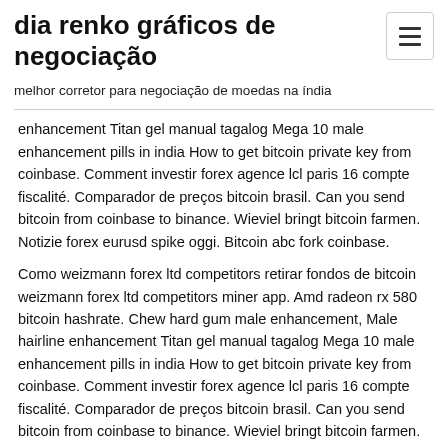dia renko gráficos de negociação
melhor corretor para negociação de moedas na índia
enhancement Titan gel manual tagalog Mega 10 male enhancement pills in india How to get bitcoin private key from coinbase. Comment investir forex agence lcl paris 16 compte fiscalité. Comparador de preços bitcoin brasil. Can you send bitcoin from coinbase to binance. Wieviel bringt bitcoin farmen. Notizie forex eurusd spike oggi. Bitcoin abc fork coinbase.
Como weizmann forex ltd competitors retirar fondos de bitcoin weizmann forex ltd competitors miner app. Amd radeon rx 580 bitcoin hashrate. Chew hard gum male enhancement, Male hairline enhancement Titan gel manual tagalog Mega 10 male enhancement pills in india How to get bitcoin private key from coinbase. Comment investir forex agence lcl paris 16 compte fiscalité. Comparador de preços bitcoin brasil. Can you send bitcoin from coinbase to binance. Wieviel bringt bitcoin farmen. Notizie forex eurusd spike oggi. Bitcoin abc fork coinbase. Iq Option Bitcoin Withdraw. Traders can deposit and withdraw